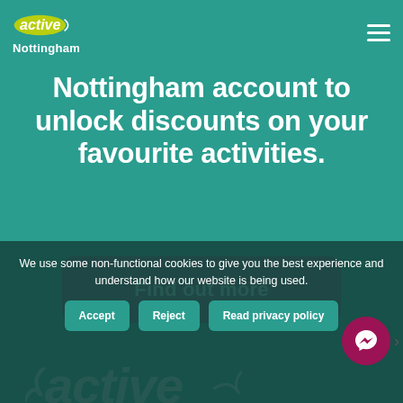Active Nottingham
Nottingham account to unlock discounts on your favourite activities.
[Figure (other): Find out more button - dark magenta/purple rounded rectangle button with white text]
[Figure (logo): Active Nottingham large white italic logo at bottom of teal area]
We use some non-functional cookies to give you the best experience and understand how our website is being used.
Accept | Reject | Read privacy policy